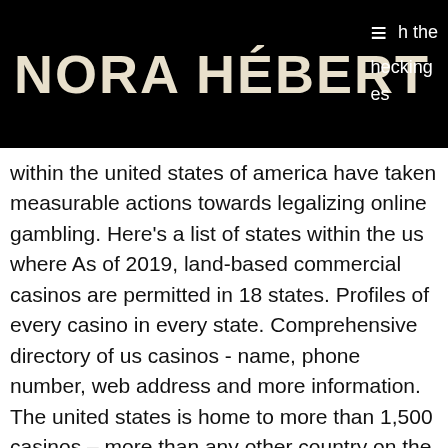NORA HÉBERT
within the united states of america have taken measurable actions towards legalizing online gambling. Here's a list of states within the us where As of 2019, land-based commercial casinos are permitted in 18 states. Profiles of every casino in every state. Comprehensive directory of us casinos - name, phone number, web address and more information. The united states is home to more than 1,500 casinos – more than any other country on the planet. From coast to coast, gamblers have a huge range of options. Spokane tribe casino is the newest and cleanest casino in the spokane area with hundreds of new slot machines to choose from, a full range of exciting table. In the united states, beautiful san diego county is arguably the &quot;indian casino. Click here